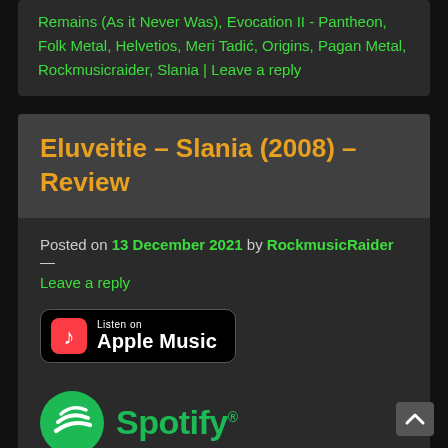Remains (As it Never Was), Evocation II - Pantheon, Folk Metal, Helvetios, Meri Tadić, Origins, Pagan Metal, Rockmusicraider, Slania | Leave a reply
Eluveitie – Slania (2008) – Review
Posted on 13 December 2021 by RockmusicRaider — Leave a reply
[Figure (logo): Listen on Apple Music badge - black rounded rectangle with Apple Music logo and text]
[Figure (logo): Spotify logo - green circle with sound waves icon and green Spotify text]